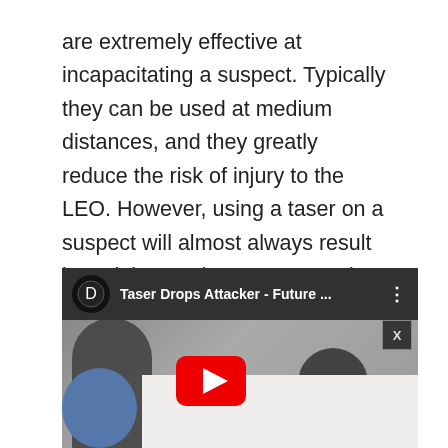are extremely effective at incapacitating a suspect. Typically they can be used at medium distances, and they greatly reduce the risk of injury to the LEO. However, using a taser on a suspect will almost always result in an injury to the suspect, and an LEO should take this into consideration when determining reasonableness. (Video courtesy of Discovery TV YouTube channel).
[Figure (screenshot): YouTube video thumbnail showing 'Taser Drops Attacker - Future ...' from Discovery TV channel. Two men visible. A white panel overlay partially covers the lower portion. A play button is visible in the center.]